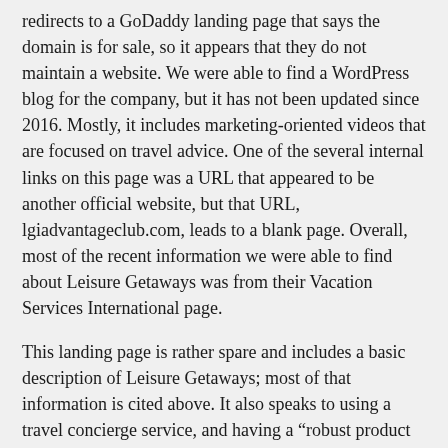redirects to a GoDaddy landing page that says the domain is for sale, so it appears that they do not maintain a website. We were able to find a WordPress blog for the company, but it has not been updated since 2016. Mostly, it includes marketing-oriented videos that are focused on travel advice. One of the several internal links on this page was a URL that appeared to be another official website, but that URL, lgiadvantageclub.com, leads to a blank page. Overall, most of the recent information we were able to find about Leisure Getaways was from their Vacation Services International page.
This landing page is rather spare and includes a basic description of Leisure Getaways; most of that information is cited above. It also speaks to using a travel concierge service, and having a "robust product line." Of course, below that description, where the properties are meant to be listed, there are not currently any actual listings. (There is a "TBA" with a list price of $6000 but we did not consider this a real property, as it looks to be a placeholder.)
Of course, all of this is indicative of a company that is not paying attention to their online presence, which is something of a red flag. It's certainly not indicative that they would be capable of helping